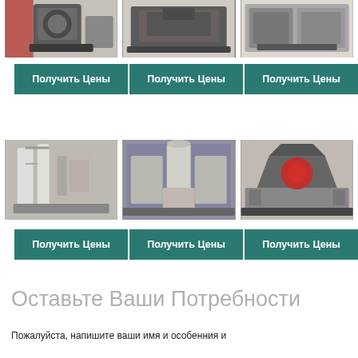[Figure (photo): Three industrial crushing/milling machine photos in a row at top]
[Figure (other): Three teal 'Получить Цены' (Get Prices) buttons in a row]
[Figure (photo): Three industrial equipment photos in a row (powder processing, dust collector, cone crusher)]
[Figure (other): Three teal 'Получить Цены' (Get Prices) buttons in a row]
Оставьте Ваши Потребности
Пожалуйста, напишите ваши имя и особенния и